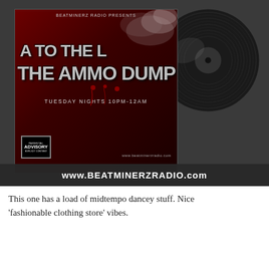[Figure (illustration): Promotional image for 'A to the L: The Ammo Dump' on Beatminerz Radio, Tuesday Nights 10PM-12AM. Shows a dark red album cover with smoky effect and bold text, overlaid on a vinyl record. Bottom bar reads www.BEATMINERZRADIO.com]
This one has a load of midtempo dancey stuff. Nice 'fashionable clothing store' vibes.